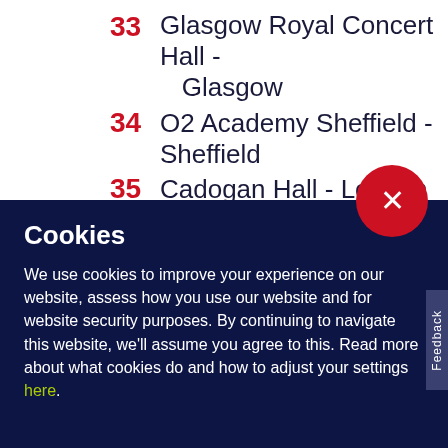33 Glasgow Royal Concert Hall - Glasgow
34 O2 Academy Sheffield - Sheffield
35 Cadogan Hall - London
36 Anvil - Basingstoke
Cookies
We use cookies to improve your experience on our website, assess how you use our website and for website security purposes. By continuing to navigate this website, we'll assume you agree to this. Read more about what cookies do and how to adjust your settings here.